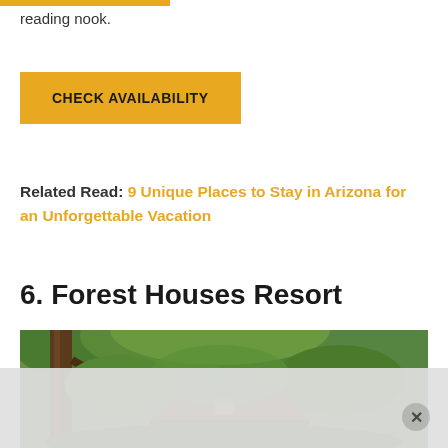reading nook.
CHECK AVAILABILITY
Related Read: 9 Unique Places to Stay in Arizona for an Unforgettable Vacation
6. Forest Houses Resort
[Figure (photo): Photo of Forest Houses Resort showing wooden cabin structures surrounded by dense green forest trees and foliage]
[Figure (other): Advertisement overlay banner at bottom of page with close (X) button]